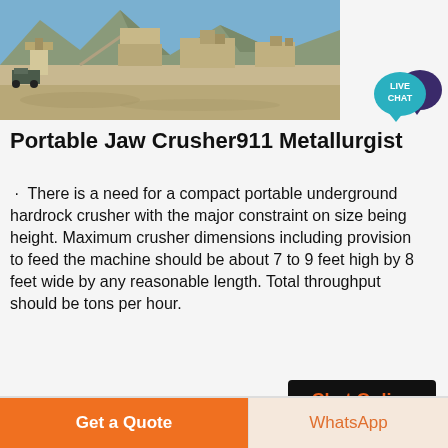[Figure (photo): Outdoor mining/quarry site with portable jaw crusher equipment, mountains in background, blue sky]
[Figure (illustration): Live Chat speech bubble icon in teal and dark purple]
Portable Jaw Crusher911 Metallurgist
There is a need for a compact portable underground hardrock crusher with the major constraint on size being height. Maximum crusher dimensions including provision to feed the machine should be about 7 to 9 feet high by 8 feet wide by any reasonable length. Total throughput should be tons per hour.
[Figure (other): Chat Online button with black background and orange text]
Get a Quote | WhatsApp